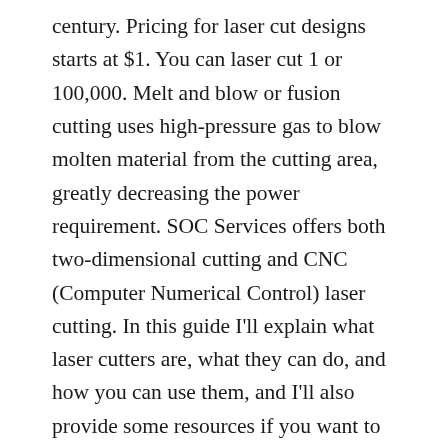century. Pricing for laser cut designs starts at $1. You can laser cut 1 or 100,000. Melt and blow or fusion cutting uses high-pressure gas to blow molten material from the cutting area, greatly decreasing the power requirement. SOC Services offers both two-dimensional cutting and CNC (Computer Numerical Control) laser cutting. In this guide I'll explain what laser cutters are, what they can do, and how you can use them, and I'll also provide some resources if you want to learn and do more with laser cutters. We cut a wide range of wood, acrylic and paper based materials. Thinner features have a much higher tendency to break, just because they have very small cross sectional areas, and most parts cut out on a laser cutter, like wood, acrylic, and plastic, tend to be very brittle, so they will snap very easily if designed features are too thin. The company also offers engraving services for